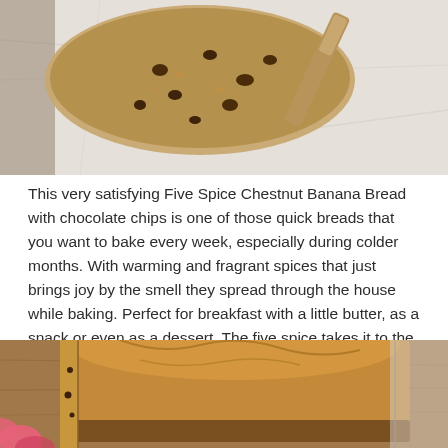[Figure (photo): Top-down view of a slice of banana bread with chocolate chips on white crinkled parchment paper, with a wooden butter spreader beside it]
This very satisfying Five Spice Chestnut Banana Bread with chocolate chips is one of those quick breads that you want to bake every week, especially during colder months. With warming and fragrant spices that just brings joy by the smell they spread through the house while baking. Perfect for breakfast with a little butter, as a snack or even as a dessert. The five spice takes it to the next level. Wondering what five spice is?
[Figure (photo): Close-up side view of a golden-brown loaf of banana bread on a wooden cutting board with pink flowers visible in the lower left corner]